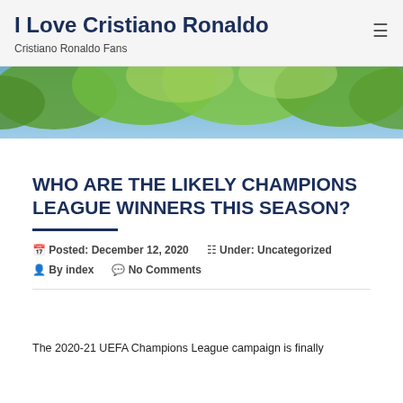I Love Cristiano Ronaldo
Cristiano Ronaldo Fans
[Figure (photo): Hero banner image showing tree canopy with green leaves against a blue sky]
WHO ARE THE LIKELY CHAMPIONS LEAGUE WINNERS THIS SEASON?
Posted: December 12, 2020   Under: Uncategorized   By index   No Comments
The 2020-21 UEFA Champions League campaign is finally